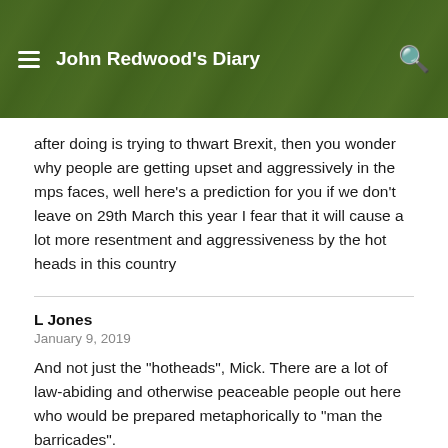John Redwood's Diary
after doing is trying to thwart Brexit, then you wonder why people are getting upset and aggressively in the mps faces, well here's a prediction for you if we don't leave on 29th March this year I fear that it will cause a lot more resentment and aggressiveness by the hot heads in this country
L Jones
January 9, 2019
And not just the "hotheads", Mick. There are a lot of law-abiding and otherwise peaceable people out here who would be prepared metaphorically to "man the barricades".